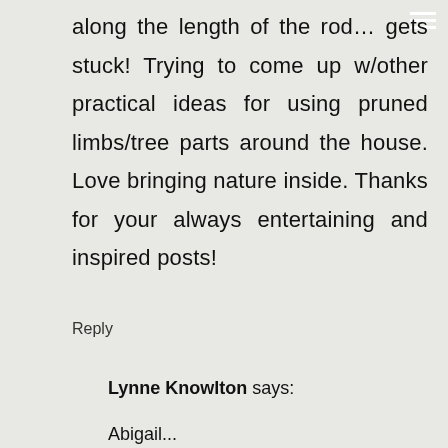along the length of the rod... gets stuck! Trying to come up w/other practical ideas for using pruned limbs/tree parts around the house. Love bringing nature inside. Thanks for your always entertaining and inspired posts!
Reply
Lynne Knowlton says:
Abigail...